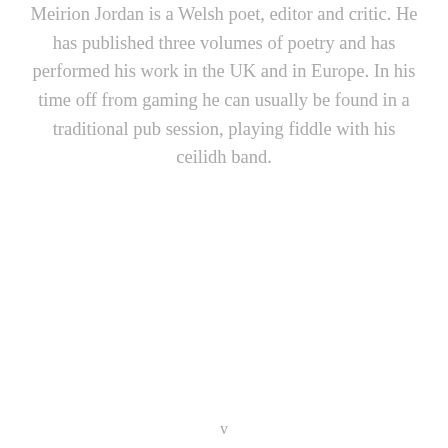Meirion Jordan is a Welsh poet, editor and critic. He has published three volumes of poetry and has performed his work in the UK and in Europe. In his time off from gaming he can usually be found in a traditional pub session, playing fiddle with his ceilidh band.
v